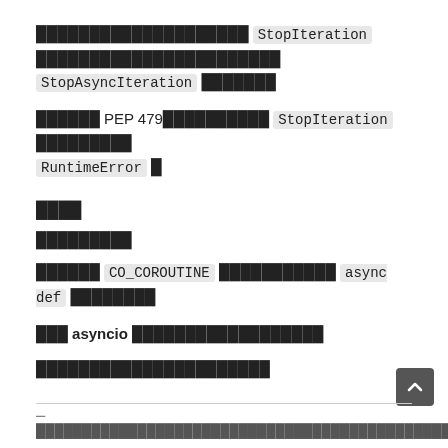เพื่อสร้างตัวกำหนดขอบเขตเป็น StopIteration และจะสร้าง StopAsyncIteration แทนที่
และหาก PEP 479 เปิดใช้งาน StopIteration ที่เกิดขึ้นจะกลายเป็น RuntimeError
หมายเหตุ
หมายเหตุย่อย
ฟังก์ชัน CO_COROUTINE ถูกกำหนดโดย async def และฟังก์ชัน
ใช้ asyncio สำหรับการเขียนโค้ดแบบอะซิงก์
ข้อมูลเพิ่มเติมสามารถดูได้จากเอกสาร